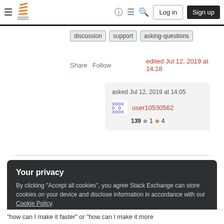Stack Exchange — Log in | Sign up
discussion
support
asking-questions
Share   Follow   edited Jul 12, 2019 at 14:18
asked Jul 12, 2019 at 14:05  user10530562  139 ● 1 ● 4
Your privacy
By clicking "Accept all cookies", you agree Stack Exchange can store cookies on your device and disclose information in accordance with our Cookie Policy.
Accept all cookies   Customize settings
"how can I make it faster" or "how can I make it more